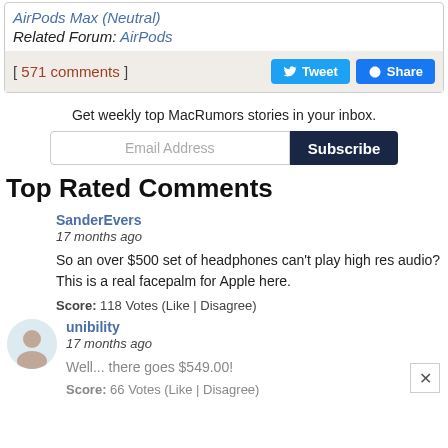AirPods Max (Neutral)
Related Forum: AirPods
[ 571 comments ]
Tweet
Share
Get weekly top MacRumors stories in your inbox.
Email Address
Subscribe
Top Rated Comments
SanderEvers
17 months ago
So an over $500 set of headphones can't play high res audio? This is a real facepalm for Apple here.
Score: 118 Votes (Like | Disagree)
unibility
17 months ago
Well... there goes $549.00!
Score: 66 Votes (Like | Disagree)